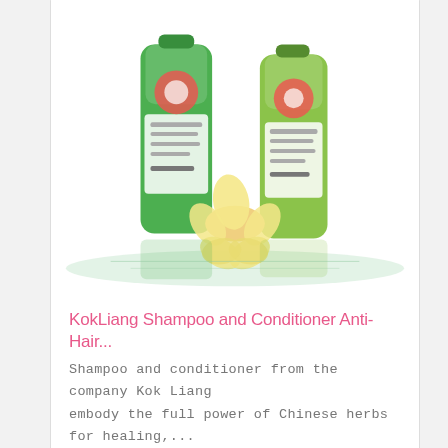[Figure (photo): KokLiang Shampoo and Conditioner product bottles with lotus flower decoration on water background]
KokLiang Shampoo and Conditioner Anti-Hair...
Shampoo and conditioner from the company Kok Liang embody the full power of Chinese herbs for healing,...
150 ฿
[Figure (photo): Free&Free Damage Aid Serum Shampoo bottle with Paraben Free circular badge logo]